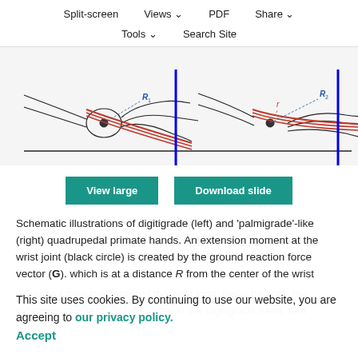Split-screen   Views ∨   PDF   Share ∨
Tools ∨   Search Site
[Figure (schematic): Schematic illustrations of digitigrade (left) and palmigrade-like (right) quadrupedal primate hands showing wrist joint anatomy with labeled radii R1, R2, r and blue vertical reference lines, with red lines indicating muscle/tendon paths.]
View large   Download slide
Schematic illustrations of digitigrade (left) and 'palmigrade'-like (right) quadrupedal primate hands. An extension moment at the wrist joint (black circle) is created by the ground reaction force vector (G). which is at a distance R from the center of the wrist
This site uses cookies. By continuing to use our website, you are agreeing to our privacy policy.
Accept
distance r from the center of the wrist joint, helps balance the extension moment. R 1 is shorter in the digitigrade hand, and